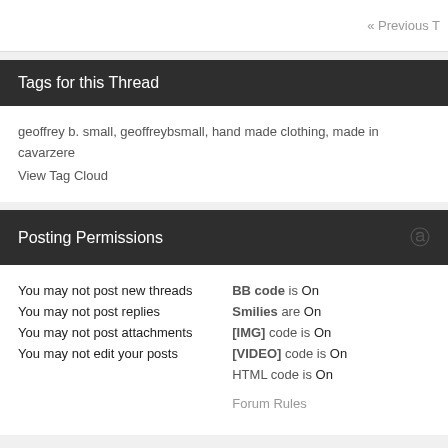« Previous T
Tags for this Thread
geoffrey b. small, geoffreybsmall, hand made clothing, made in cavarzere
View Tag Cloud
Posting Permissions
You may not post new threads
You may not post replies
You may not post attachments
You may not edit your posts
BB code is On
Smilies are On
[IMG] code is On
[VIDEO] code is On
HTML code is On

Forum Rules